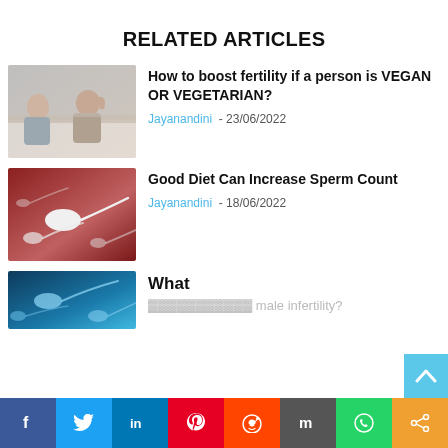RELATED ARTICLES
[Figure (photo): A couple sitting on a bed, the man with his head in his hands, the woman looking away, depicting relationship stress or fertility concerns.]
How to boost fertility if a person is VEGAN OR VEGETARIAN?
Jayanandini  - 23/06/2022
[Figure (photo): Microscopic image of sperm cells on a reddish-pink background.]
Good Diet Can Increase Sperm Count
Jayanandini  - 18/06/2022
[Figure (photo): Blue microscopic image of sperm cells, partially visible at the bottom of the page.]
What
f  t  in  p  reddit  m  whatsapp  share